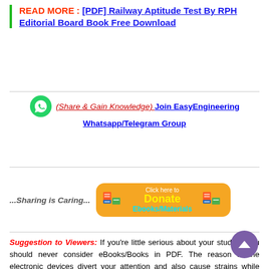READ MORE : [PDF] Railway Aptitude Test By RPH Editorial Board Book Free Download
[Figure (infographic): WhatsApp green icon circle]
(Share & Gain Knowledge) Join EasyEngineering Whatsapp/Telegram Group
[Figure (infographic): Orange rounded donate button with book icons, text: Click here to Donate Ebooks/Materials]
...Sharing is Caring...
Suggestion to Viewers: If you're little serious about your studies, you should never consider eBooks/Books in PDF. The reason is the electronic devices divert your attention and also cause strains while reading eBooks. Kindly, Switch to hard copy of this Book & Buy it officially from the publishers and utilize your